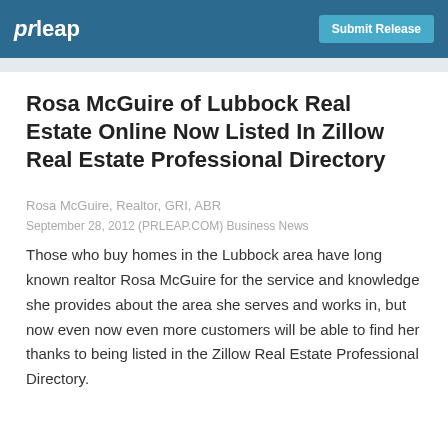prleap | Submit Release
Rosa McGuire of Lubbock Real Estate Online Now Listed In Zillow Real Estate Professional Directory
Rosa McGuire, Realtor, GRI, ABR
September 28, 2012 (PRLEAP.COM) Business News
Those who buy homes in the Lubbock area have long known realtor Rosa McGuire for the service and knowledge she provides about the area she serves and works in, but now even now even more customers will be able to find her thanks to being listed in the Zillow Real Estate Professional Directory.